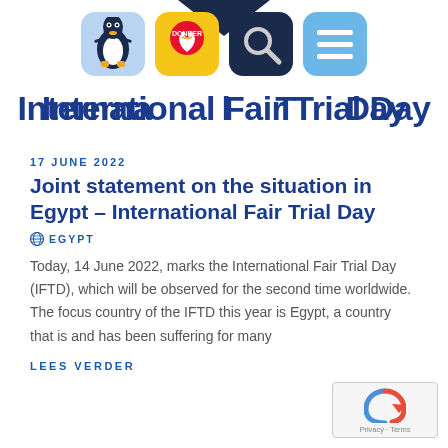[Figure (logo): International Fair Trial Day website header banner with navigation icons (penguin, DONEER heart, magnifying glass, menu) and bold blue text partially obscured by icons]
17 JUNE 2022
Joint statement on the situation in Egypt – International Fair Trial Day
EGYPT
Today, 14 June 2022, marks the International Fair Trial Day (IFTD), which will be observed for the second time worldwide. The focus country of the IFTD this year is Egypt, a country that is and has been suffering for many
LEES VERDER